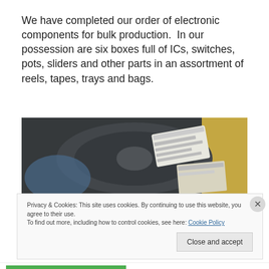We have completed our order of electronic components for bulk production.  In our possession are six boxes full of ICs, switches, pots, sliders and other parts in an assortment of reels, tapes, trays and bags.
[Figure (photo): Photograph of electronic components in reels and bags inside a box, with labels visible on the plastic packaging.]
Privacy & Cookies: This site uses cookies. By continuing to use this website, you agree to their use.
To find out more, including how to control cookies, see here: Cookie Policy